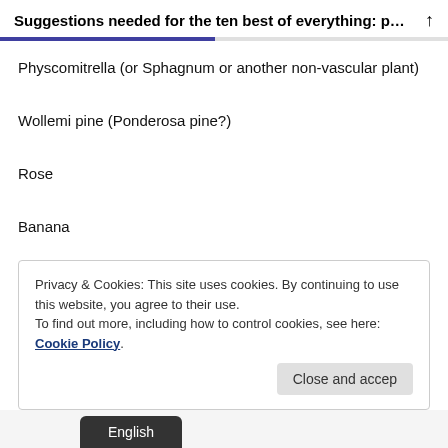Suggestions needed for the ten best of everything: p…  ↑
Physcomitrella (or Sphagnum or another non-vascular plant)
Wollemi pine (Ponderosa pine?)
Rose
Banana
Lycopodium
Privacy & Cookies: This site uses cookies. By continuing to use this website, you agree to their use.
To find out more, including how to control cookies, see here: Cookie Policy
Close and accep
English